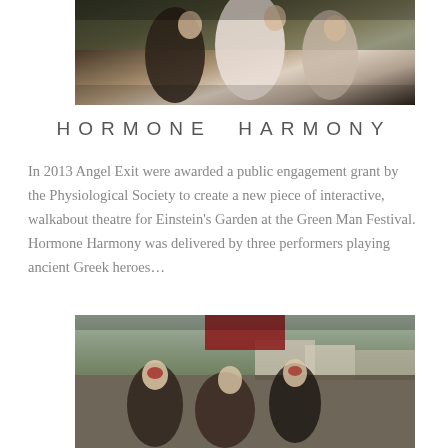[Figure (photo): Two women in ancient Greek style draped costumes laughing and posing outdoors, desaturated/muted color photo]
HORMONE HARMONY
In 2013 Angel Exit were awarded a public engagement grant by the Physiological Society to create a new piece of interactive, walkabout theatre for Einstein's Garden at the Green Man Festival. Hormone Harmony was delivered by three performers playing ancient Greek heroes...
[Figure (photo): Performers in ancient Greek hero costumes with red accessories performing at an outdoor festival, with village buildings in the background]